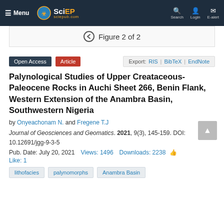≡ Menu  SciEP sciepub.com  Search  Login  E-alert
Figure 2 of 2
Open Access  Article  Export: RIS | BibTeX | EndNote
Palynological Studies of Upper Creataceous-Paleocene Rocks in Auchi Sheet 266, Benin Flank, Western Extension of the Anambra Basin, Southwestern Nigeria
by Onyeachonam N. and Fregene T.J
Journal of Geosciences and Geomatics. 2021, 9(3), 145-159. DOI: 10.12691/jgg-9-3-5
Pub. Date: July 20, 2021   Views: 1496   Downloads: 2238   👍 Like: 1
lithofacies
palynomorphs
Anambra Basin